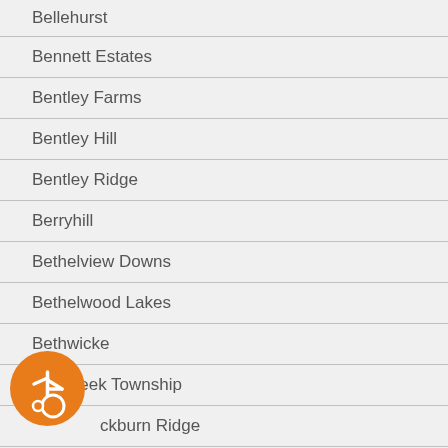Bellehurst
Bennett Estates
Bentley Farms
Bentley Hill
Bentley Ridge
Berryhill
Bethelview Downs
Bethelwood Lakes
Bethwicke
Big Creek Township
Blackburn Ridge
Blackstock Mill
[Figure (illustration): Orange circular accessibility icon with wheelchair user symbol]